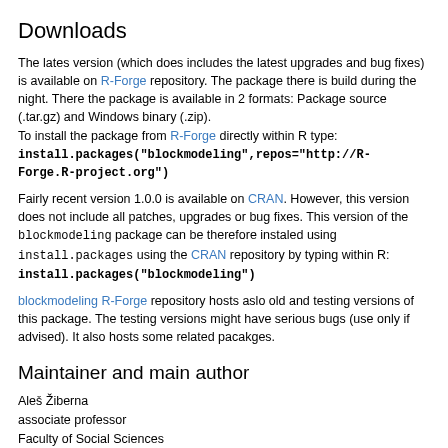Downloads
The lates version (which does includes the latest upgrades and bug fixes) is available on R-Forge repository. The package there is build during the night. There the package is available in 2 formats: Package source (.tar.gz) and Windows binary (.zip).
To install the package from R-Forge directly within R type:
install.packages("blockmodeling",repos="http://R-Forge.R-project.org")
Fairly recent version 1.0.0 is available on CRAN. However, this version does not include all patches, upgrades or bug fixes. This version of the blockmodeling package can be therefore instaled using install.packages using the CRAN repository by typing within R:
install.packages("blockmodeling")
blockmodeling R-Forge repository hosts aslo old and testing versions of this package. The testing versions might have serious bugs (use only if advised). It also hosts some related pacakges.
Maintainer and main author
Aleš Žiberna
associate professor
Faculty of Social Sciences